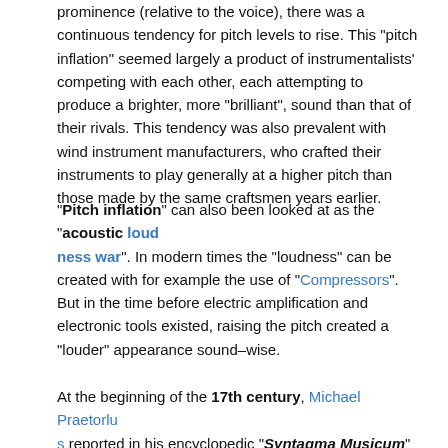prominence (relative to the voice), there was a continuous tendency for pitch levels to rise. This "pitch inflation" seemed largely a product of instrumentalists' competing with each other, each attempting to produce a brighter, more "brilliant", sound than that of their rivals. This tendency was also prevalent with wind instrument manufacturers, who crafted their instruments to play generally at a higher pitch than those made by the same craftsmen years earlier.
"Pitch inflation" can also been looked at as the "acoustic loudness war". In modern times the "loudness" can be created with for example the use of "Compressors". But in the time before electric amplification and electronic tools existed, raising the pitch created a "louder" appearance sound-wise.
At the beginning of the 17th century, Michael Praetorius reported in his encyclopedic "Syntagma Musicum" that pitch